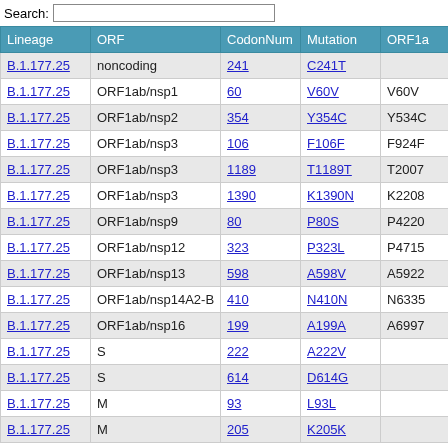| Lineage | ORF | CodonNum | Mutation | ORF1a |
| --- | --- | --- | --- | --- |
| B.1.177.25 | noncoding | 241 | C241T |  |
| B.1.177.25 | ORF1ab/nsp1 | 60 | V60V | V60V |
| B.1.177.25 | ORF1ab/nsp2 | 354 | Y354C | Y534C |
| B.1.177.25 | ORF1ab/nsp3 | 106 | F106F | F924F |
| B.1.177.25 | ORF1ab/nsp3 | 1189 | T1189T | T2007 |
| B.1.177.25 | ORF1ab/nsp3 | 1390 | K1390N | K2208 |
| B.1.177.25 | ORF1ab/nsp9 | 80 | P80S | P4220 |
| B.1.177.25 | ORF1ab/nsp12 | 323 | P323L | P4715 |
| B.1.177.25 | ORF1ab/nsp13 | 598 | A598V | A5922 |
| B.1.177.25 | ORF1ab/nsp14A2-B | 410 | N410N | N6335 |
| B.1.177.25 | ORF1ab/nsp16 | 199 | A199A | A6997 |
| B.1.177.25 | S | 222 | A222V |  |
| B.1.177.25 | S | 614 | D614G |  |
| B.1.177.25 | M | 93 | L93L |  |
| B.1.177.25 | M | 205 | K205K |  |